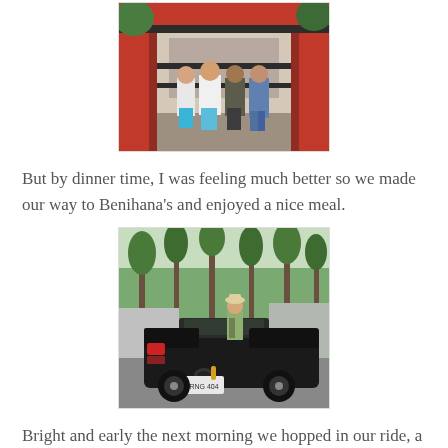[Figure (photo): Four people standing in front of a Japanese-style building with red pillars and gate structure.]
But by dinner time, I was feeling much better so we made our way to Benihana's and enjoyed a nice meal.
[Figure (photo): A black Ford Mustang convertible parked in a lot surrounded by tall trees. A person stands near the car.]
Bright and early the next morning we hopped in our ride, a